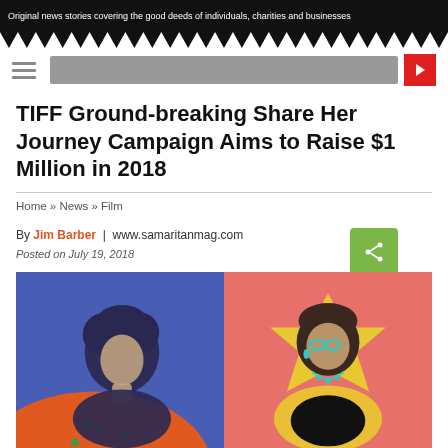Original news stories covering the good deeds of individuals, charities and businesses
TIFF Ground-breaking Share Her Journey Campaign Aims to Raise $1 Million in 2018
Home » News » Film
By Jim Barber  |  www.samaritanmag.com
Posted on July 19, 2018
[Figure (photo): Two women illustrated in pop-art style against colorful backgrounds (blue and pink/coral). Left panel shows a woman with curly dark hair on blue background with orange/red decorative shape. Right panel shows a woman with short hair and teal glasses on pink/coral background with yellow star shape.]